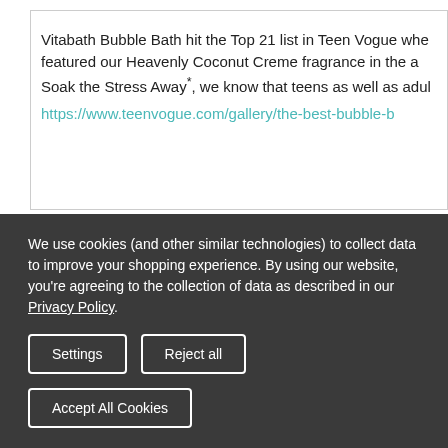Vitabath Bubble Bath hit the Top 21 list in Teen Vogue whe featured our Heavenly Coconut Creme fragrance in the a Soak the Stress Away*, we know that teens as well as adul https://www.teenvogue.com/gallery/the-best-bubble-b
[Figure (logo): POPSUGAR. BEAUTY logo in dark navy and blue]
We use cookies (and other similar technologies) to collect data to improve your shopping experience. By using our website, you're agreeing to the collection of data as described in our Privacy Policy.